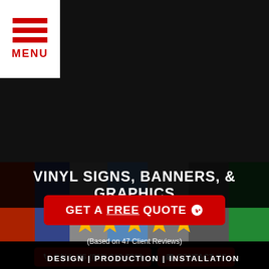[Figure (screenshot): Menu hamburger button with three red horizontal lines and MENU label in red on white background, top-left corner]
RATED 5.0 STARS
[Figure (infographic): Five gold/yellow star rating icons in a row]
(Based on 47 Client Reviews)
CALL US (817) 318-7763
CONTACT US
VINYL SIGNS, BANNERS, & GRAPHICS
[Figure (photo): Background collage of various vinyl signs, banners and graphics products]
GET A FREE QUOTE
DESIGN | PRODUCTION | INSTALLATION